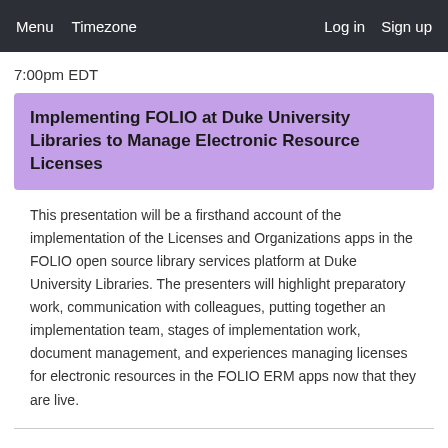Menu  Timezone  Log in  Sign up
7:00pm EDT
Implementing FOLIO at Duke University Libraries to Manage Electronic Resource Licenses
This presentation will be a firsthand account of the implementation of the Licenses and Organizations apps in the FOLIO open source library services platform at Duke University Libraries. The presenters will highlight preparatory work, communication with colleagues, putting together an implementation team, stages of implementation work, document management, and experiences managing licenses for electronic resources in the FOLIO ERM apps now that they are live.